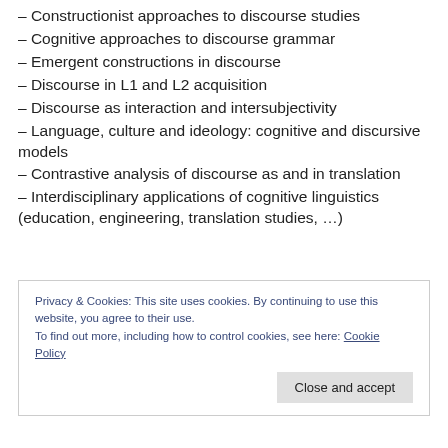– Constructionist approaches to discourse studies
– Cognitive approaches to discourse grammar
– Emergent constructions in discourse
– Discourse in L1 and L2 acquisition
– Discourse as interaction and intersubjectivity
– Language, culture and ideology: cognitive and discursive models
– Contrastive analysis of discourse as and in translation
– Interdisciplinary applications of cognitive linguistics (education, engineering, translation studies, …)
Privacy & Cookies: This site uses cookies. By continuing to use this website, you agree to their use. To find out more, including how to control cookies, see here: Cookie Policy